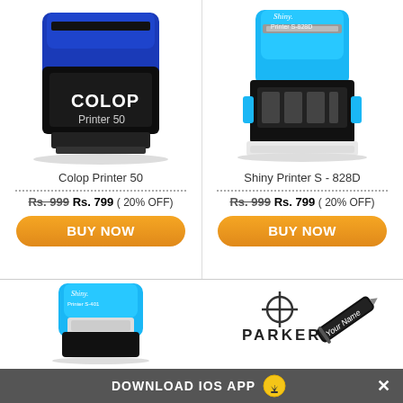[Figure (photo): Colop Printer 50 blue self-inking stamp]
Colop Printer 50
Rs. 999  Rs. 799  ( 20% OFF)
BUY NOW
[Figure (photo): Shiny Printer S-828D blue date stamp]
Shiny Printer S - 828D
Rs. 999  Rs. 799  ( 20% OFF)
BUY NOW
[Figure (photo): Shiny Printer S-401 small blue stamp]
[Figure (logo): Parker logo with pen engraved with Your Name]
DOWNLOAD IOS APP  X